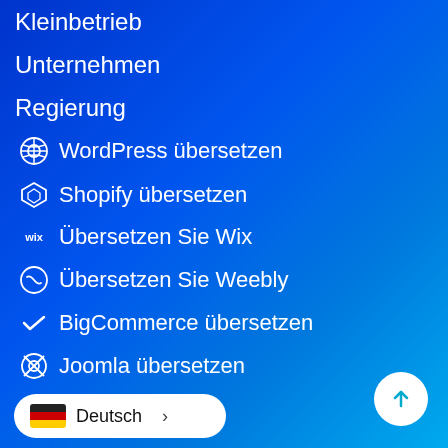Kleinbetrieb
Unternehmen
Regierung
WordPress übersetzen
Shopify übersetzen
Übersetzen Sie Wix
Übersetzen Sie Weebly
BigCommerce übersetzen
Joomla übersetzen
Deutsch